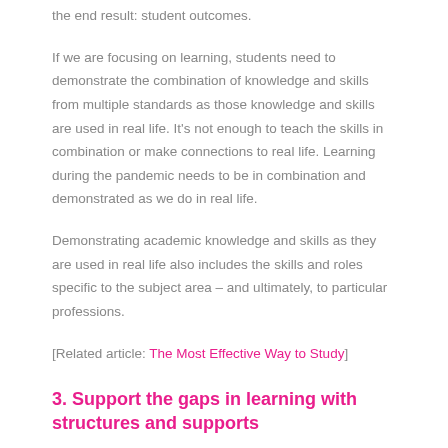the end result: student outcomes.
If we are focusing on learning, students need to demonstrate the combination of knowledge and skills from multiple standards as those knowledge and skills are used in real life. It's not enough to teach the skills in combination or make connections to real life. Learning during the pandemic needs to be in combination and demonstrated as we do in real life.
Demonstrating academic knowledge and skills as they are used in real life also includes the skills and roles specific to the subject area – and ultimately, to particular professions.
[Related article: The Most Effective Way to Study]
3. Support the gaps in learning with structures and supports
Teaching is tiring. It can be downright exhausting if the